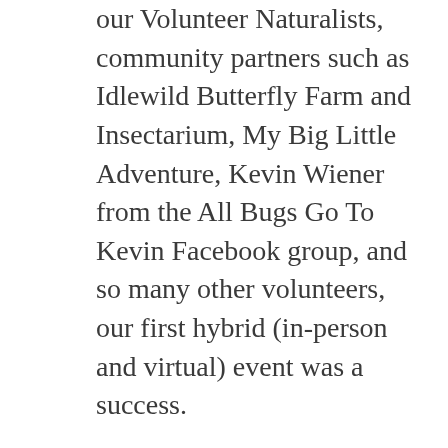our Volunteer Naturalists, community partners such as Idlewild Butterfly Farm and Insectarium, My Big Little Adventure, Kevin Wiener from the All Bugs Go To Kevin Facebook group, and so many other volunteers, our first hybrid (in-person and virtual) event was a success.
The festival included bug-related programs throughout the week. We offered virtual presentations from local and national experts on native bees who discussed the creation of habitats to enhance biodiversity. We also heard from an outstanding panel of artists whose work is inspired by insects and their relatives, thanks to Arts in Nature Curator Jenny Zeller. Bernheim's blog featured a daily bug spotlight by Nature-based Educator Olivia Belk. The fun was capped off by Bernheim's Volunteer